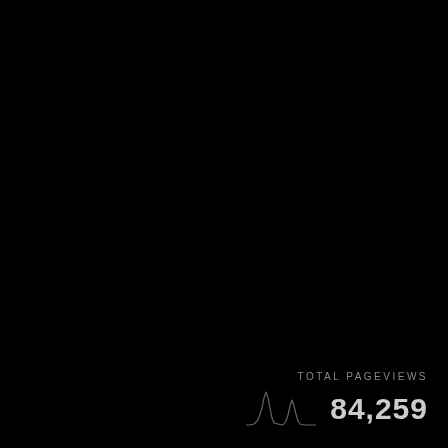TOTAL PAGEVIEWS
[Figure (continuous-plot): Small sparkline-style histogram showing two peaks in pageview distribution, rendered as a white line outline on black background]
84,259